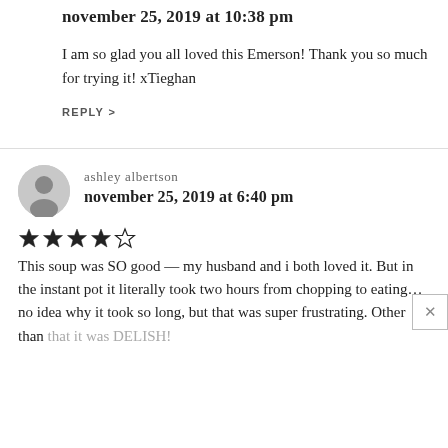november 25, 2019 at 10:38 pm
I am so glad you all loved this Emerson! Thank you so much for trying it! xTieghan
REPLY >
ashley albertson
november 25, 2019 at 6:40 pm
[Figure (other): 4-star rating shown as 4 filled stars and 1 empty star]
This soup was SO good — my husband and i both loved it. But in the instant pot it literally took two hours from chopping to eating... no idea why it took so long, but that was super frustrating. Other than that it was DELISH!